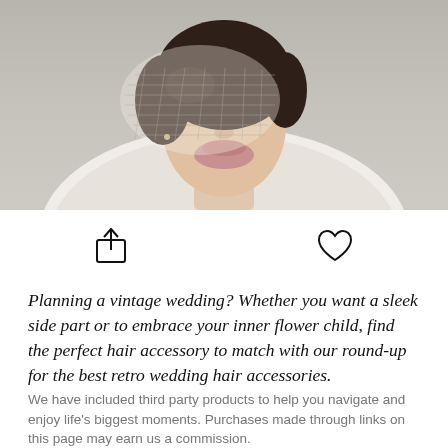[Figure (photo): A woman wearing a birdcage veil and white off-shoulder dress, photographed from the shoulders up against a grey background.]
Planning a vintage wedding? Whether you want a sleek side part or to embrace your inner flower child, find the perfect hair accessory to match with our round-up for the best retro wedding hair accessories.
We have included third party products to help you navigate and enjoy life's biggest moments. Purchases made through links on this page may earn us a commission.